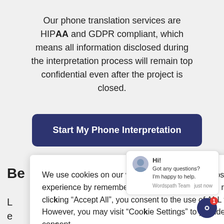Our phone translation services are HIPAA and GDPR compliant, which means all information disclosed during the interpretation process will remain top confidential even after the project is closed.
Start My Phone Interpretation
Be
L
e
We use cookies on our website to give you the most relevant experience by remembering your preferences and repeat visits. By clicking "Accept All", you consent to the use of ALL the cookies. However, you may visit "Cookie Settings" to provide a controlled consent.
Cookie Settings
Accept All
Hi!
Got any questions?
I'm happy to help.
Wordspath Team   just now